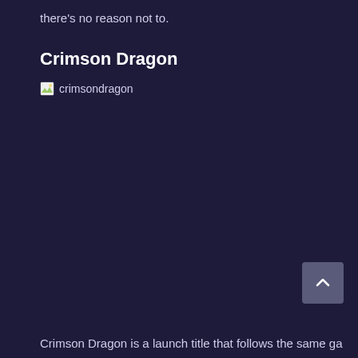there's no reason not to.
Crimson Dragon
[Figure (other): Broken image placeholder with alt text 'crimsondragon']
[Figure (other): Scroll-to-top button with upward chevron arrow]
Crimson Dragon is a launch title that follows the same ga